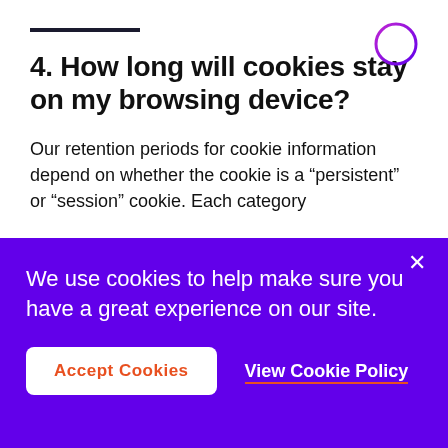4. How long will cookies stay on my browsing device?
Our retention periods for cookie information depend on whether the cookie is a “persistent” or “session” cookie. Each category
We use cookies to help make sure you have a great experience on our site.
Accept Cookies
View Cookie Policy